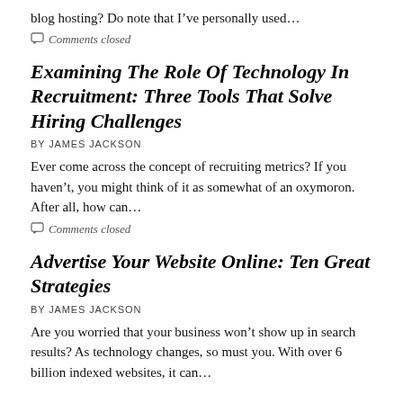blog hosting? Do note that I've personally used…
Comments closed
Examining The Role Of Technology In Recruitment: Three Tools That Solve Hiring Challenges
BY JAMES JACKSON
Ever come across the concept of recruiting metrics? If you haven't, you might think of it as somewhat of an oxymoron. After all, how can…
Comments closed
Advertise Your Website Online: Ten Great Strategies
BY JAMES JACKSON
Are you worried that your business won't show up in search results? As technology changes, so must you. With over 6 billion indexed websites, it can…